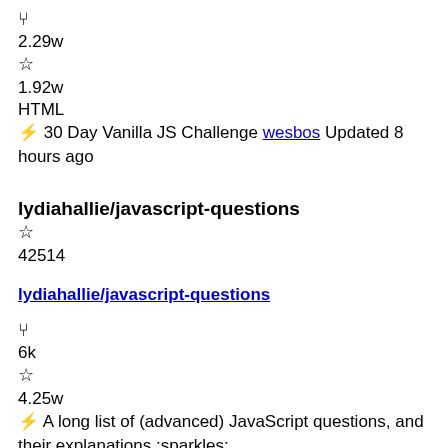⑂ 2.29w ☆ 1.92w HTML ⚡ 30 Day Vanilla JS Challenge wesbos Updated 8 hours ago
lydiahallie/javascript-questions ☆ 42514
lydiahallie/javascript-questions (link)
⑂ 6k ☆ 4.25w ⚡ A long list of (advanced) JavaScript questions, and their explanations :sparkles: